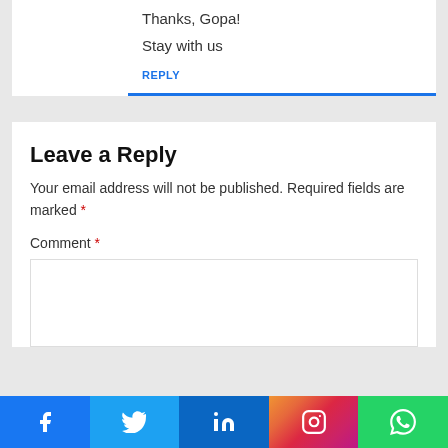Thanks, Gopa!
Stay with us
REPLY
Leave a Reply
Your email address will not be published. Required fields are marked *
Comment *
[Figure (other): Social media share bar with icons for Facebook, Twitter, LinkedIn, Instagram, WhatsApp]